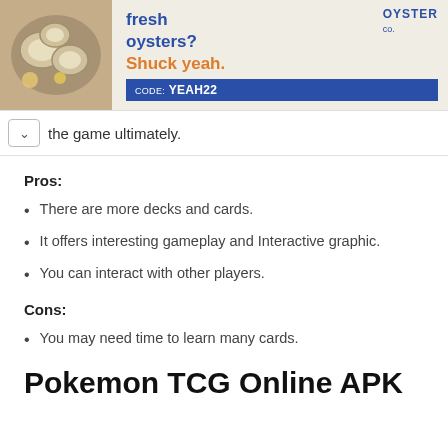[Figure (illustration): Advertisement banner for Oyster Co. featuring oysters image on left, text 'fresh oysters? Shuck yeah.' in blue and orange, with a blue box showing 'CODE: YEAH22' and OYSTER Co. branding.]
the game ultimately.
Pros:
There are more decks and cards.
It offers interesting gameplay and Interactive graphic.
You can interact with other players.
Cons:
You may need time to learn many cards.
Pokemon TCG Online APK